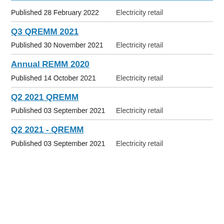Published 28 February 2022    Electricity retail
Q3 QREMM 2021
Published 30 November 2021    Electricity retail
Annual REMM 2020
Published 14 October 2021    Electricity retail
Q2 2021 QREMM
Published 03 September 2021    Electricity retail
Q2 2021 - QREMM
Published 03 September 2021    Electricity retail